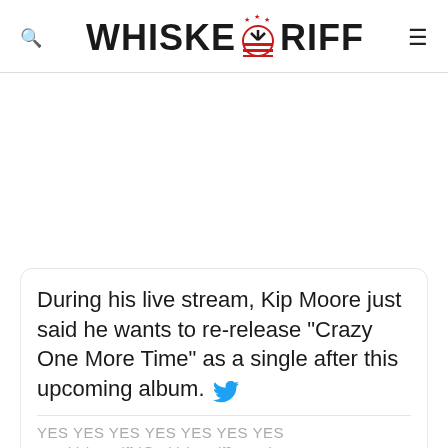WHISKEY RIFF
[Figure (other): Advertisement/blank area]
During his live stream, Kip Moore just said he wants to re-release "Crazy One More Time" as a single after this upcoming album.
YES YES YES YES YES YES YES
— Whiskey Riff (@WhiskeyRiff) March 27, 2020